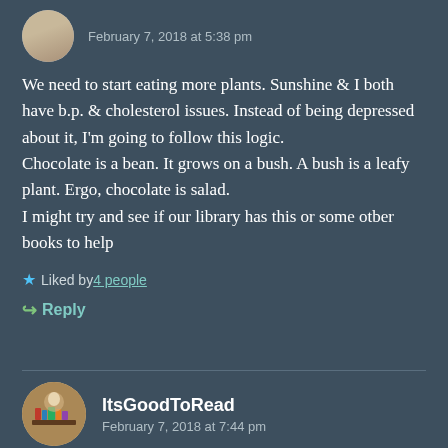February 7, 2018 at 5:38 pm
We need to start eating more plants. Sunshine & I both have b.p. & cholesterol issues. Instead of being depressed about it, I'm going to follow this logic.
Chocolate is a bean. It grows on a bush. A bush is a leafy plant. Ergo, chocolate is salad.
I might try and see if our library has this or some otber books to help
Liked by 4 people
Reply
ItsGoodToRead
February 7, 2018 at 7:44 pm